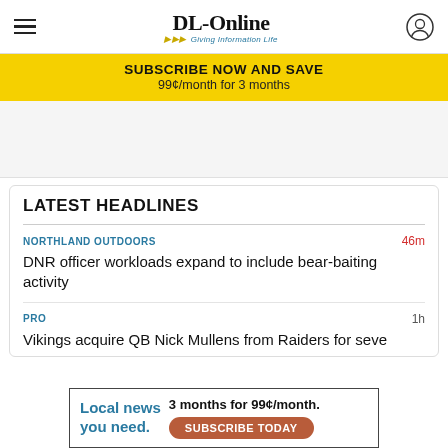DL-Online — Giving Information Life
SUBSCRIBE NOW AND SAVE
99¢/month for 3 months
[Figure (other): Advertisement space (blank gray area)]
LATEST HEADLINES
NORTHLAND OUTDOORS   46m
DNR officer workloads expand to include bear-baiting activity
PRO   1h
Vikings acquire QB Nick Mullens from Raiders for seve...
[Figure (other): Bottom advertisement: Local news you need. 3 months for 99¢/month. SUBSCRIBE TODAY button.]